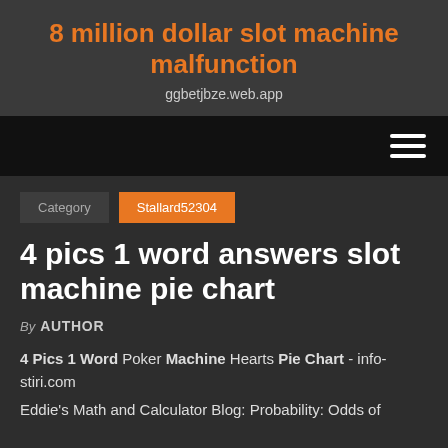8 million dollar slot machine malfunction
ggbetjbze.web.app
[Figure (other): Navigation bar with hamburger menu icon (three horizontal lines) on black background]
Category  Stallard52304
4 pics 1 word answers slot machine pie chart
By AUTHOR
4 Pics 1 Word Poker Machine Hearts Pie Chart - info-stiri.com
Eddie's Math and Calculator Blog: Probability: Odds of